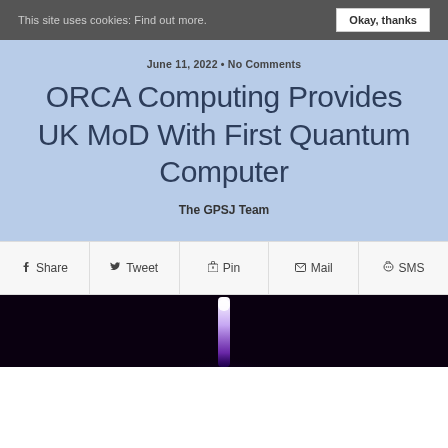This site uses cookies: Find out more.  Okay, thanks
June 11, 2022 • No Comments
ORCA Computing Provides UK MoD With First Quantum Computer
The GPSJ Team
Share  Tweet  Pin  Mail  SMS
[Figure (photo): Dark background with a glowing purple/violet light beam or laser, likely representing quantum computing technology]